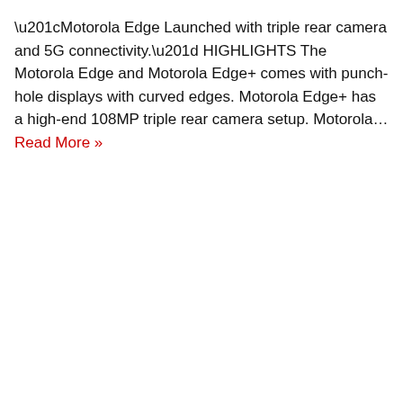“Motorola Edge Launched with triple rear camera and 5G connectivity.” HIGHLIGHTS The Motorola Edge and Motorola Edge+ comes with punch-hole displays with curved edges. Motorola Edge+ has a high-end 108MP triple rear camera setup. Motorola… Read More »